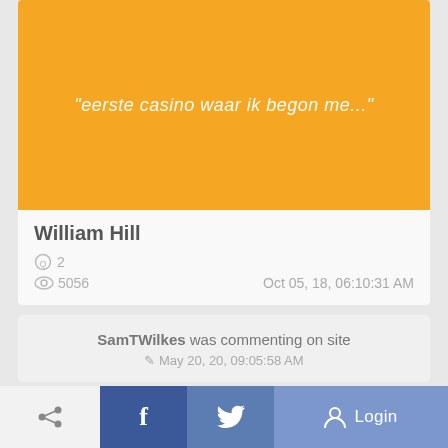[Figure (other): Yellow/orange banner with italic white text: "eerste casino waar ik begon me..."]
William Hill
Q 2   5056   Oct 05, 18, 06:10:31 AM
SamTWilkes was commenting on site
May 20, 20, 09:05:58 AM
Share   f   Twitter bird   Login